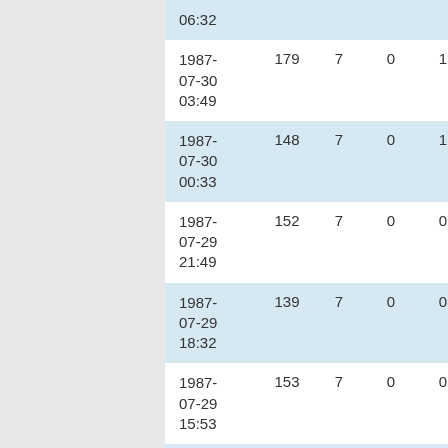| date | col1 | col2 | col3 | col4 |
| --- | --- | --- | --- | --- |
| 06:32 |  |  |  |  |
| 1987-07-30 03:49 | 179 | 7 | 0 | 1 |
| 1987-07-30 00:33 | 148 | 7 | 0 | 1 |
| 1987-07-29 21:49 | 152 | 7 | 0 | 0 |
| 1987-07-29 18:32 | 139 | 7 | 0 | 0 |
| 1987-07-29 15:53 | 153 | 7 | 0 | 0 |
| 1987-07-29 ... | 173 | 7 | 1 | 0 |